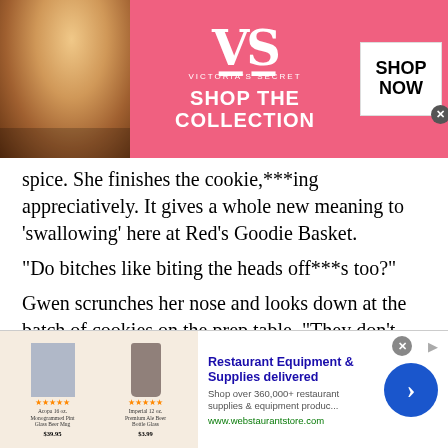[Figure (illustration): Victoria's Secret advertisement banner with pink background, model photo on left, VS logo and 'SHOP THE COLLECTION' text in center, 'SHOP NOW' button on right]
spice. She finishes the cookie,***ing appreciatively. It gives a whole new meaning to ‘swallowing’ here at Red’s Goodie Basket.
“Do bitches like biting the heads off***s too?”
Gwen scrunches her nose and looks down at the batch of cookies on the prep table. “They don’t look like***s. They’re broomsticks.” But even as she defends herself, she tilts her head to study them.
[Figure (illustration): Restaurant Equipment & Supplies delivered advertisement from webstaurantstore.com with product images on left and blue arrow button on right]